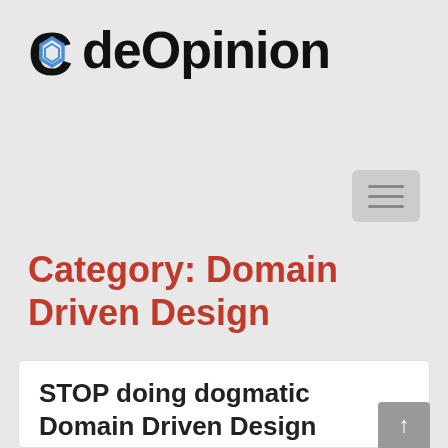[Figure (logo): CodeOpinion logo with blue diamond/hexagon icon replacing the letter C in Code, bold black sans-serif text]
[Figure (other): Hamburger menu button (three horizontal lines) on gray rounded rectangle background]
Category: Domain Driven Design
STOP doing dogmatic Domain Driven Design
June 9, 2021   Leave a comment